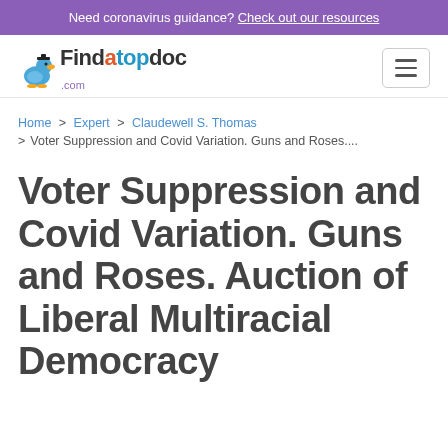Need coronavirus guidance? Check out our resources
[Figure (logo): Findatopdoc.com logo with duck mascot and hamburger menu button]
Home > Expert > Claudewell S. Thomas > Voter Suppression and Covid Variation. Guns and Roses....
Voter Suppression and Covid Variation. Guns and Roses. Auction of Liberal Multiracial Democracy